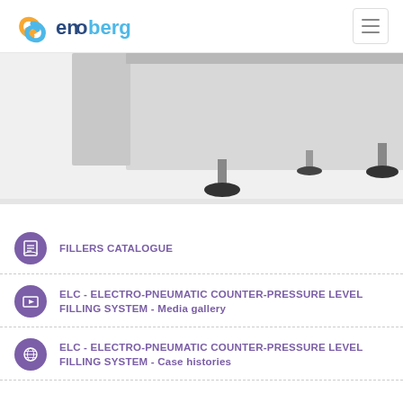enoberg
[Figure (photo): Bottom section of an industrial filling machine with adjustable feet/legs on a white background]
FILLERS CATALOGUE
ELC - ELECTRO-PNEUMATIC COUNTER-PRESSURE LEVEL FILLING SYSTEM - Media gallery
ELC - ELECTRO-PNEUMATIC COUNTER-PRESSURE LEVEL FILLING SYSTEM - Case histories